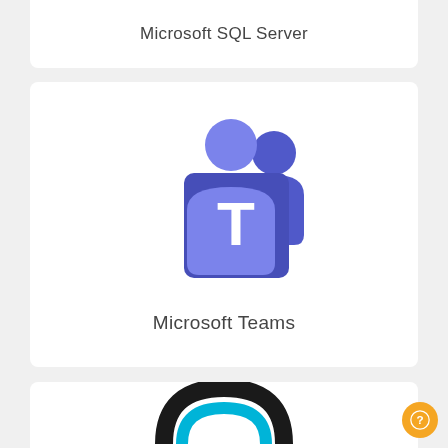Microsoft SQL Server
[Figure (logo): Microsoft Teams logo - purple square with white T, purple person silhouettes]
Microsoft Teams
[Figure (logo): Partially visible logo at bottom of page - black arc shape with teal element, appears to be another Microsoft product]